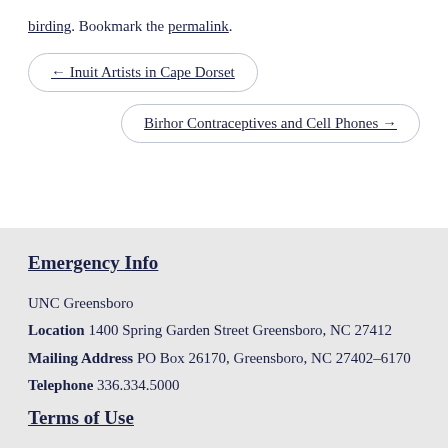birding. Bookmark the permalink.
← Inuit Artists in Cape Dorset
Birhor Contraceptives and Cell Phones →
Emergency Info
UNC Greensboro
Location 1400 Spring Garden Street Greensboro, NC 27412
Mailing Address PO Box 26170, Greensboro, NC 27402-6170
Telephone 336.334.5000
Terms of Use